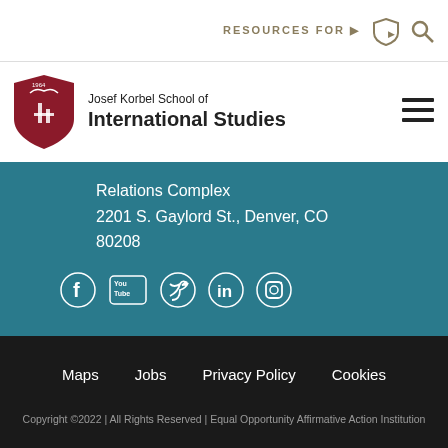RESOURCES FOR
[Figure (logo): Josef Korbel School of International Studies shield logo]
Josef Korbel School of
International Studies
Relations Complex
2201 S. Gaylord St., Denver, CO 80208
[Figure (infographic): Social media icons: Facebook, YouTube, Twitter, LinkedIn, Instagram]
Maps
Jobs
Privacy Policy
Cookies
Copyright ©2022 | All Rights Reserved | Equal Opportunity Affirmative Action Institution